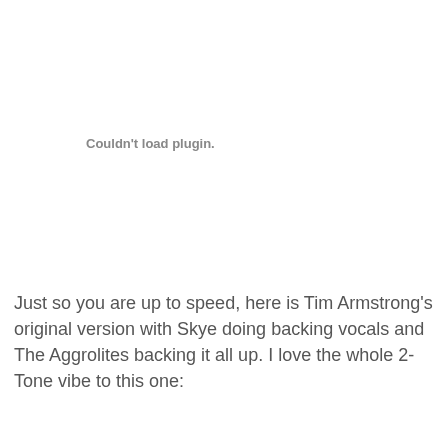Couldn't load plugin.
Just so you are up to speed, here is Tim Armstrong's original version with Skye doing backing vocals and The Aggrolites backing it all up. I love the whole 2-Tone vibe to this one: